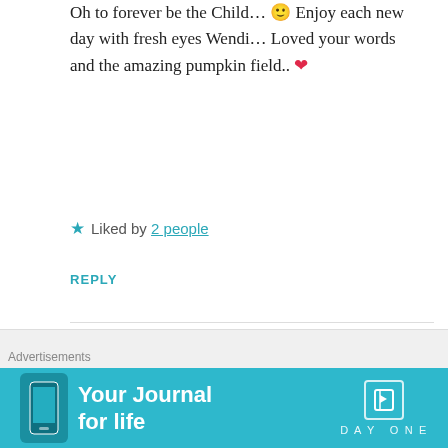Oh to forever be the Child... 🙂 Enjoy each new day with fresh eyes Wendi... Loved your words and the amazing pumpkin field.. ❤
★ Liked by 2 people
REPLY
simplywendi
NOVEMBER 6, 2018 AT 12:07 AM
thank you so much Sue..........yes, I try to
[Figure (illustration): Advertisement banner for Day One app - Your Journal for life]
Advertisements